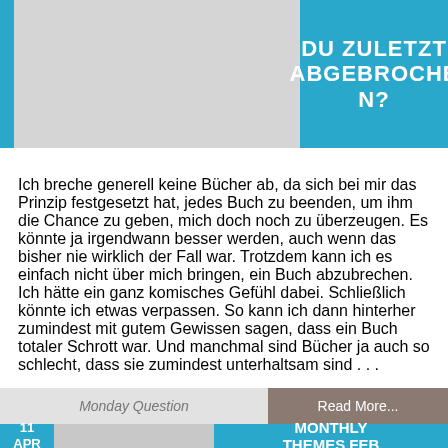[Figure (other): Top section with blue side bar, gray thumbnail area, and blue box with white bold text reading 'DU ZULETZT ABGEBROCHEN?']
Ich breche generell keine Bücher ab, da sich bei mir das Prinzip festgesetzt hat, jedes Buch zu beenden, um ihm die Chance zu geben, mich doch noch zu überzeugen. Es könnte ja irgendwann besser werden, auch wenn das bisher nie wirklich der Fall war. Trotzdem kann ich es einfach nicht über mich bringen, ein Buch abzubrechen. Ich hätte ein ganz komisches Gefühl dabei. Schließlich könnte ich etwas verpassen. So kann ich dann hinterher zumindest mit gutem Gewissen sagen, dass ein Buch totaler Schrott war. Und manchmal sind Bücher ja auch so schlecht, dass sie zumindest unterhaltsam sind . . .
Monday Question
Read More...
[Figure (other): Bottom card section showing date '11 APR', gray thumbnail area, and blue box with white bold text reading 'MONTHLY THEMES FEB']